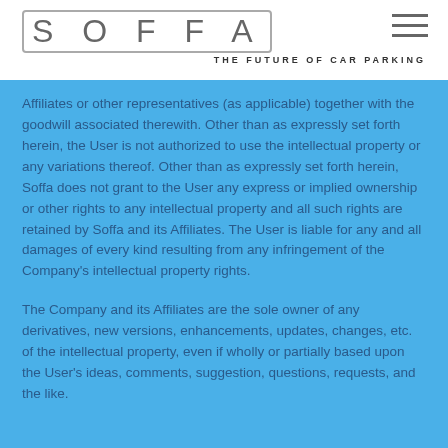SOFFA — THE FUTURE OF CAR PARKING
Affiliates or other representatives (as applicable) together with the goodwill associated therewith. Other than as expressly set forth herein, the User is not authorized to use the intellectual property or any variations thereof. Other than as expressly set forth herein, Soffa does not grant to the User any express or implied ownership or other rights to any intellectual property and all such rights are retained by Soffa and its Affiliates. The User is liable for any and all damages of every kind resulting from any infringement of the Company's intellectual property rights.
The Company and its Affiliates are the sole owner of any derivatives, new versions, enhancements, updates, changes, etc. of the intellectual property, even if wholly or partially based upon the User's ideas, comments, suggestion, questions, requests, and the like.